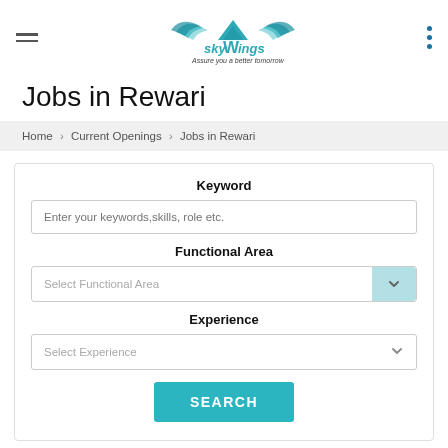[Figure (logo): SkyWings logo with wings graphic and tagline 'Assure you a better tomorrow']
Jobs in Rewari
Home › Current Openings › Jobs in Rewari
Keyword
Enter your keywords,skills, role etc.
Functional Area
Select Functional Area
Experience
Select Experience
SEARCH